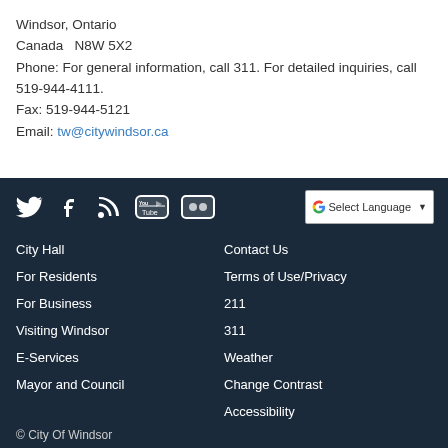Windsor, Ontario
Canada  N8W 5X2
Phone: For general information, call 311. For detailed inquiries, call 519-944-4111.
Fax: 519-944-5121
Email: tw@citywindsor.ca
[Figure (other): Social media icons row (Twitter, Facebook, RSS, YouTube, Flickr) and Google Translate Select Language button]
City Hall
For Residents
For Business
Visiting Windsor
E-Services
Mayor and Council
Contact Us
Terms of Use/Privacy
211
311
Weather
Change Contrast
Accessibility
© City Of Windsor